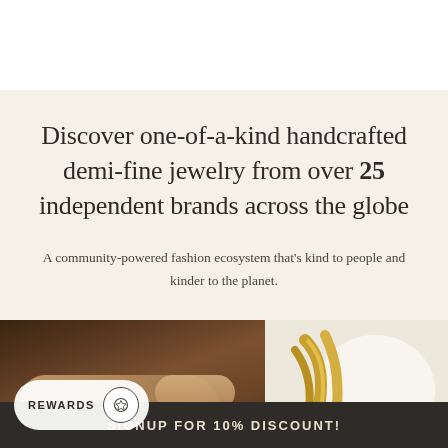Discover one-of-a-kind handcrafted demi-fine jewelry from over 25 independent brands across the globe
A community-powered fashion ecosystem that's kind to people and kinder to the planet.
[Figure (photo): Left photo: close-up of hands working on a craft/jewelry item on a dark surface. A REWARDS badge with circular icon is overlaid on the lower left.]
[Figure (photo): Right photo: close-up of gold/yellow ribbons or straps against a white/cream background.]
SIGNUP FOR 10% DISCOUNT!